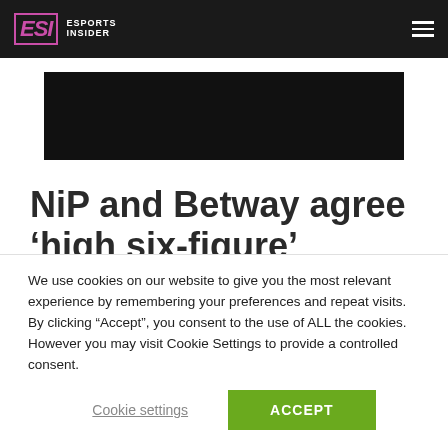ESI ESPORTS INSIDER
[Figure (photo): Black hero image placeholder for article]
NiP and Betway agree ‘high six-figure’ sponsorship deal
We use cookies on our website to give you the most relevant experience by remembering your preferences and repeat visits. By clicking “Accept”, you consent to the use of ALL the cookies. However you may visit Cookie Settings to provide a controlled consent.